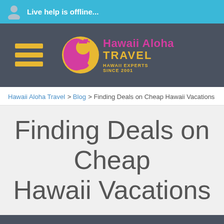Live help is offline...
[Figure (logo): Hawaii Aloha Travel logo with hamburger menu icon. Logo shows a circular icon with a Hawaiian figure silhouette, text 'Hawaii Aloha TRAVEL' and tagline 'HAWAII EXPERTS SINCE 2001']
Hawaii Aloha Travel > Blog > Finding Deals on Cheap Hawaii Vacations
Finding Deals on Cheap Hawaii Vacations